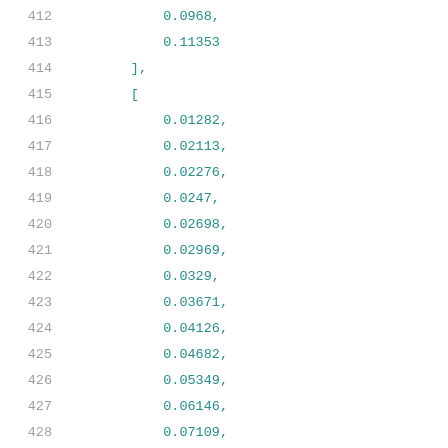412    0.0968,
413    0.11353
414    ],
415    [
416    0.01282,
417    0.02113,
418    0.02276,
419    0.0247,
420    0.02698,
421    0.02969,
422    0.0329,
423    0.03671,
424    0.04126,
425    0.04682,
426    0.05349,
427    0.06146,
428    0.07109,
429    0.08271,
430    0.09668,
431    0.1135
432    ],
433    [